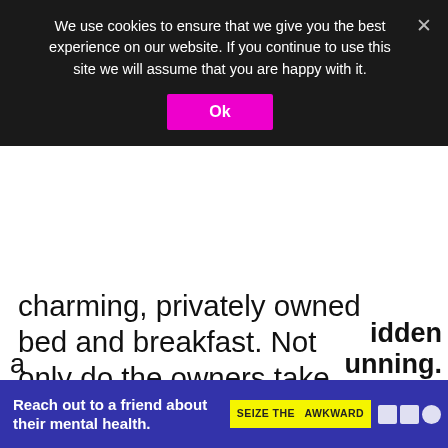We use cookies to ensure that we give you the best experience on our website. If you continue to use this site we will assume that you are happy with it.
charming, privately owned bed and breakfast. Not only do the owners take the time to make you feel right at home, but six rooms here are exceptionally clean and include fantastic, modern ammenities like premium toiletries and blackout drapes (my personal fave). A complimentary continental breakfast is also included with your stay here, which me since I am all about the free food.
WHAT'S NEXT → Expert's Guide to the 20 Be...
Reach out to a friend about their mental health.
SEIZE THE AWKWARD
idden unning.